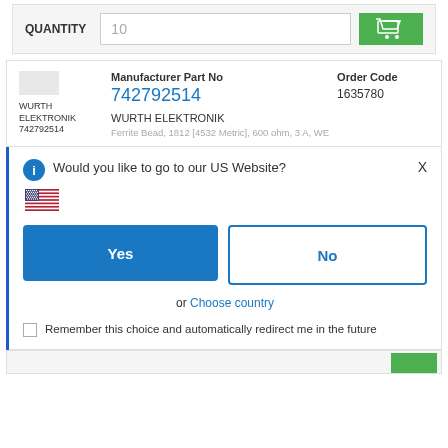[Figure (screenshot): Quantity input bar with label QUANTITY, text field showing 10, and green shopping cart button]
[Figure (screenshot): Product listing card showing Wurth Elektronik logo, Manufacturer Part No 742792514 in blue, Order Code 1635780, manufacturer name WURTH ELEKTRONIK, and partial product description line]
[Figure (screenshot): Dialog popup asking 'Would you like to go to our US Website?' with US flag, Yes button (blue), No button (outlined), 'or Choose country' link, and checkbox for 'Remember this choice and automatically redirect me in the future']